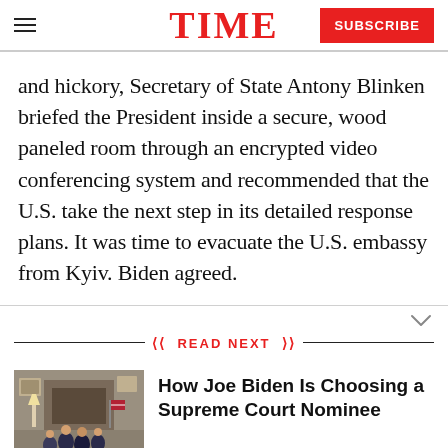TIME | SUBSCRIBE
and hickory, Secretary of State Antony Blinken briefed the President inside a secure, wood paneled room through an encrypted video conferencing system and recommended that the U.S. take the next step in its detailed response plans. It was time to evacuate the U.S. embassy from Kyiv. Biden agreed.
READ NEXT
[Figure (photo): Group of people in a formal room, appearing to be officials meeting in an official setting]
How Joe Biden Is Choosing a Supreme Court Nominee